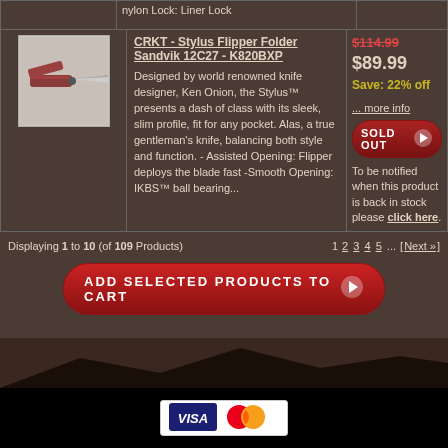nylon Lock: Liner Lock
CRKT - Stylus Flipper Folder Sandvik 12C27 - K820BXP
Designed by world renowned knife designer, Ken Onion, the Stylus™ presents a dash of class with its sleek, slim profile, fit for any pocket. Alas, a true gentleman's knife, balancing both style and function. - Assisted Opening: Flipper deploys the blade fast -Smooth Opening: IKBS™ ball bearing...
$114.99 $89.99 Save: 22% off
... more info
SOLD OUT
To be notified when this product is back in stock please click here.
Displaying 1 to 10 (of 109 Products)
1 2 3 4 5 ... [Next »]
ADD SELECTED PRODUCTS TO CART
[Figure (logo): Visa and Mastercard payment logos]